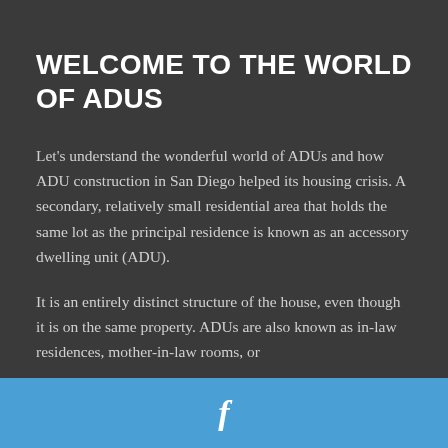WELCOME TO THE WORLD OF ADUS
Let's understand the wonderful world of ADUs and how ADU construction in San Diego helped its housing crisis. A secondary, relatively small residential area that holds the same lot as the principal residence is known as an accessory dwelling unit (ADU).
It is an entirely distinct structure of the house, even though it is on the same property. ADUs are also known as in-law residences, mother-in-law rooms, or
f